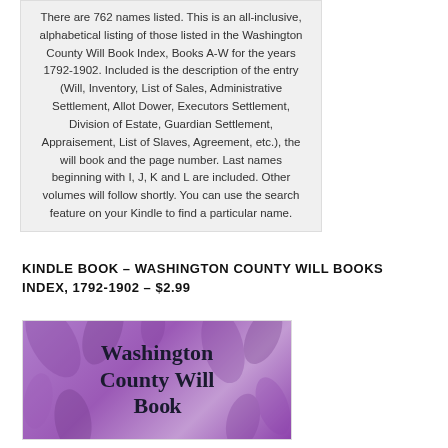There are 762 names listed. This is an all-inclusive, alphabetical listing of those listed in the Washington County Will Book Index, Books A-W for the years 1792-1902. Included is the description of the entry (Will, Inventory, List of Sales, Administrative Settlement, Allot Dower, Executors Settlement, Division of Estate, Guardian Settlement, Appraisement, List of Slaves, Agreement, etc.), the will book and the page number. Last names beginning with I, J, K and L are included. Other volumes will follow shortly. You can use the search feature on your Kindle to find a particular name.
KINDLE BOOK – WASHINGTON COUNTY WILL BOOKS INDEX, 1792-1902 – $2.99
[Figure (illustration): Book cover for Washington County Will Books Index, purple/lavender background with decorative leaf pattern, bold black text reading 'Washington County Will' (partial, cut off at bottom)]